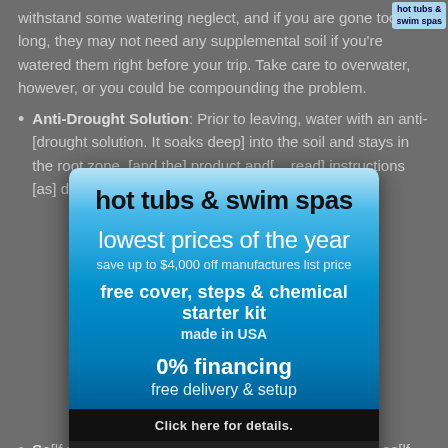withstand some watering neglect, and if you are gone too long, they may not need any supplemental soil if you're watered them right before your trip. Take care to overwater, however, or you could be compounding the problem.
Anti-Drought Solution: Prior to leaving, water with an anti-drought solution. It soaks deep into the soil and stays in the root zone, and the product and... so read instructions as directed.
Self-watering pots: These are great for replants in self-watering pots. A built-in reservoir holds water and delivers water gradually to the soil via a wick, always keeping the soil moist so long as the reservoir contains water. If you want to use a specific pot without a built-in reservoir, use a conversion kit. Various sizes are available and some use fill tubes. Consider adding liquid fertilizer to the reservoir water to ensure your plant gets proper nutrition while you are
[Figure (screenshot): Advertisement modal overlay for hot tubs and swim spas showing: 'hot tubs & swim spas', 'lowest prices of the year', 'save up to $4,000 off manufactures list price', 'free cover, steps & chemical starter kit', 'made in USA', '0% financing', 'free delivery & setup', 'Click here for details.', and a CLOSE button. Blue gradient background.]